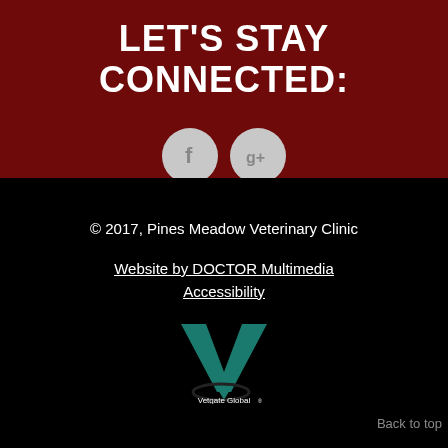LET'S STAY CONNECTED:
[Figure (illustration): Facebook icon circle button (light gray circle with 'f' letter)]
[Figure (illustration): Google+ icon circle button (light gray circle with 'g+' text)]
© 2017, Pines Meadow Veterinary Clinic
Website by DOCTOR Multimedia
Accessibility
[Figure (logo): Vetgate Global logo — large teal V with arrow and oval swoosh, text 'Vetgate Global®' below]
Back to top